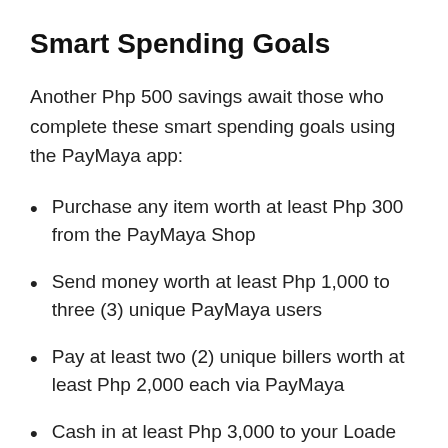Smart Spending Goals
Another Php 500 savings await those who complete these smart spending goals using the PayMaya app:
Purchase any item worth at least Php 300 from the PayMaya Shop
Send money worth at least Php 1,000 to three (3) unique PayMaya users
Pay at least two (2) unique billers worth at least Php 2,000 each via PayMaya
Cash in at least Php 3,000 to your Loade…